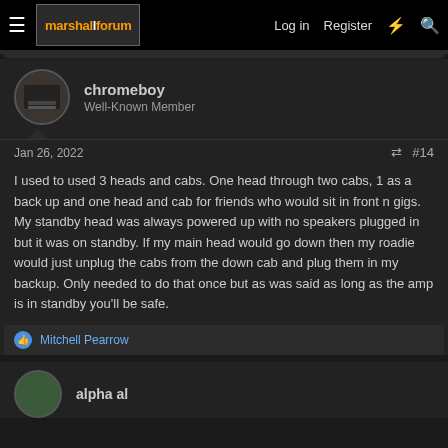marshallforum — Log in | Register
chromeboy
Well-Known Member
Jan 26, 2022  #14
I used to used 3 heads and cabs. One head through two cabs, 1 as a back up and one head and cab for friends who would sit in front n gigs. My standby head was always powered up with no speakers plugged in but it was on standby. If my main head would go down then my roadie would just unplug the cabs from the down cab and plug them in my backup. Only needed to do that once but as was said as long as the amp is in standby you'll be safe.
Mitchell Pearrow
alpha al